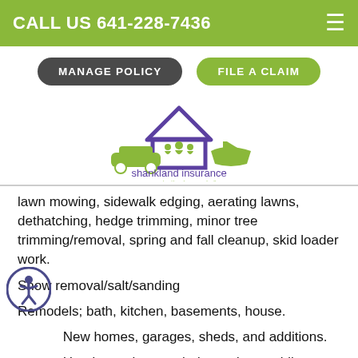CALL US 641-228-7436
MANAGE POLICY
FILE A CLAIM
[Figure (logo): Shankland Insurance logo showing a house outline in purple, three people silhouettes in green, a green car and green boat, with text 'shankland insurance - your protection is our priority']
lawn mowing, sidewalk edging, aerating lawns, dethatching, hedge trimming, minor tree trimming/removal, spring and fall cleanup, skid loader work.
Snow removal/salt/sanding
Remodels; bath, kitchen, basements, house.
New homes, garages, sheds, and additions.
Handyman items; windows, doors, siding, decks, concrete, painting, drywall (new, patch or repair),